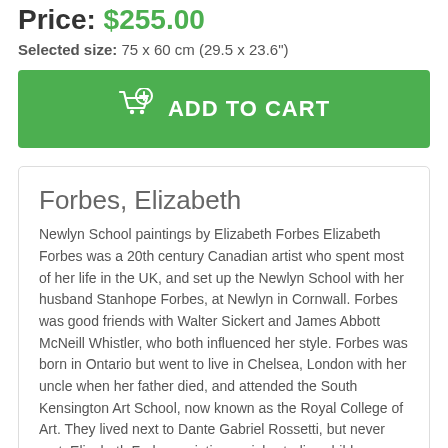Price: $255.00
Selected size: 75 x 60 cm (29.5 x 23.6")
[Figure (other): Green 'ADD TO CART' button with shopping cart icon]
Forbes, Elizabeth
Newlyn School paintings by Elizabeth Forbes Elizabeth Forbes was a 20th century Canadian artist who spent most of her life in the UK, and set up the Newlyn School with her husband Stanhope Forbes, at Newlyn in Cornwall. Forbes was good friends with Walter Sickert and James Abbott McNeill Whistler, who both influenced her style. Forbes was born in Ontario but went to live in Chelsea, London with her uncle when her father died, and attended the South Kensington Art School, now known as the Royal College of Art. They lived next to Dante Gabriel Rossetti, but never met. Elizabeth Forbes painting mainly studies children, often her own, painted in the French realist style. She was well liked and her work was often more highly thought of